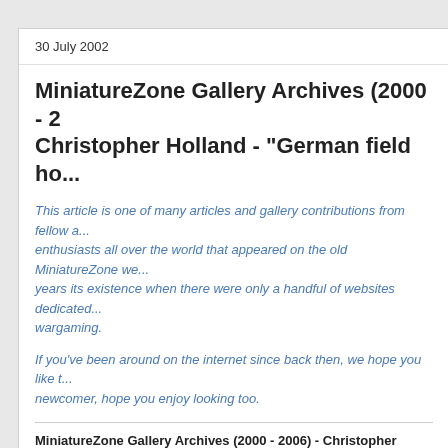30 July 2002
MiniatureZone Gallery Archives (2000 - 2... Christopher Holland - "German field ho...
This article is one of many articles and gallery contributions from fellow a... enthusiasts all over the world that appeared on the old MiniatureZone we... years its existence when there were only a handful of websites dedicated... wargaming.
If you've been around on the internet since back then, we hope you like t... newcomer, hope you enjoy looking too.
MiniatureZone Gallery Archives (2000 - 2006) - Christopher Holland...
Esci Opel Blitz Ambulance
Esci Sd.Kfz 251 Ambulance
Academy Kettenkrad